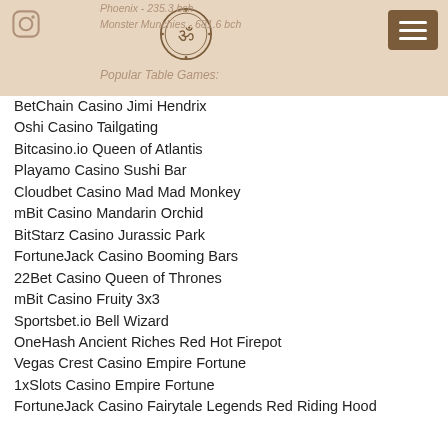Phoenix - 235.3 bch
Monster Munchies - 681.6 bch
Popular Table Games:
BetChain Casino Jimi Hendrix
Oshi Casino Tailgating
Bitcasino.io Queen of Atlantis
Playamo Casino Sushi Bar
Cloudbet Casino Mad Mad Monkey
mBit Casino Mandarin Orchid
BitStarz Casino Jurassic Park
FortuneJack Casino Booming Bars
22Bet Casino Queen of Thrones
mBit Casino Fruity 3x3
Sportsbet.io Bell Wizard
OneHash Ancient Riches Red Hot Firepot
Vegas Crest Casino Empire Fortune
1xSlots Casino Empire Fortune
FortuneJack Casino Fairytale Legends Red Riding Hood